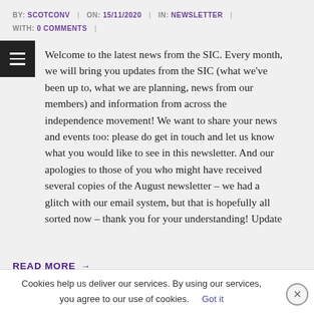BY: SCOTCONV | ON: 15/11/2020 | IN: NEWSLETTER | WITH: 0 COMMENTS |
Welcome to the latest news from the SIC. Every month, we will bring you updates from the SIC (what we've been up to, what we are planning, news from our members) and information from across the independence movement! We want to share your news and events too: please do get in touch and let us know what you would like to see in this newsletter. And our apologies to those of you who might have received several copies of the August newsletter – we had a glitch with our email system, but that is hopefully all sorted now – thank you for your understanding! Update
READ MORE →
Cookies help us deliver our services. By using our services, you agree to our use of cookies.   Got it